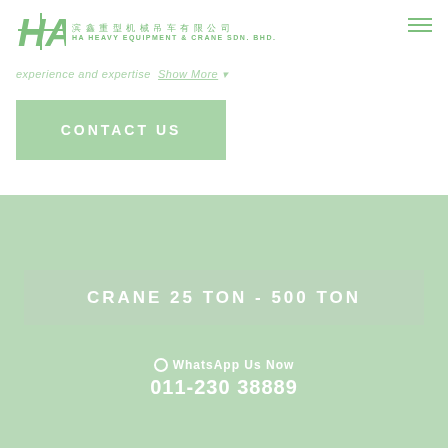[Figure (logo): HA Heavy Equipment & Crane Sdn. Bhd. logo with Chinese characters and green stylized HA icon]
experience and expertise  Show More ▾
CONTACT US
CRANE 25 TON - 500 TON
WhatsApp Us Now
011-230 38889